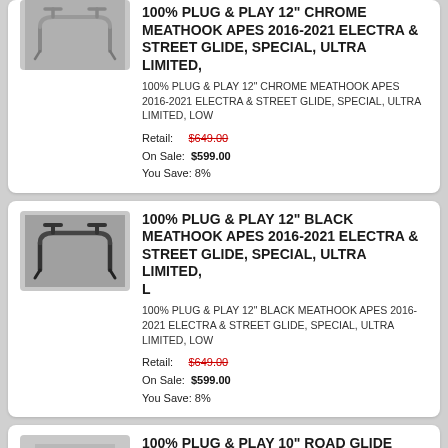[Figure (photo): Chrome meathook ape handlebars on gray background]
100% PLUG & PLAY 12" CHROME MEATHOOK APES 2016-2021 ELECTRA & STREET GLIDE, SPECIAL, ULTRA LIMITED,
100% PLUG & PLAY 12" CHROME MEATHOOK APES 2016-2021 ELECTRA & STREET GLIDE, SPECIAL, ULTRA LIMITED, LOW
Retail: $649.00
On Sale: $599.00
You Save: 8%
[Figure (photo): Black meathook ape handlebars on gray background]
100% PLUG & PLAY 12" BLACK MEATHOOK APES 2016-2021 ELECTRA & STREET GLIDE, SPECIAL, ULTRA LIMITED, L
100% PLUG & PLAY 12" BLACK MEATHOOK APES 2016-2021 ELECTRA & STREET GLIDE, SPECIAL, ULTRA LIMITED, LOW
Retail: $649.00
On Sale: $599.00
You Save: 8%
[Figure (photo): Chrome monkey ape handlebars on gray background]
100% PLUG & PLAY 10" ROAD GLIDE CHROME MEATHOOK MONKEY APES CHROME 2016-2021
100% PLUG & PLAY 10" ROAD GLIDE CHROME MEATHOOK MONKEY APES CHROME 2016-2021